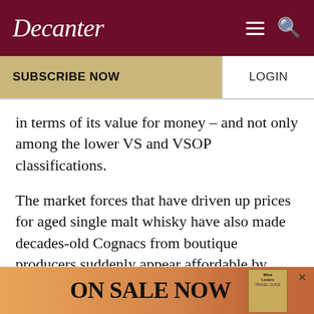Decanter
SUBSCRIBE NOW
LOGIN
in terms of its value for money – and not only among the lower VS and VSOP classifications.
The market forces that have driven up prices for aged single malt whisky have also made decades-old Cognacs from boutique producers suddenly appear affordable by comparison – and, when it comes to sipping and contemplation, these great spirits are among the world's best.
[Figure (other): Advertisement banner reading ON SALE NOW with a Wine Lovers Travel Guide book image]